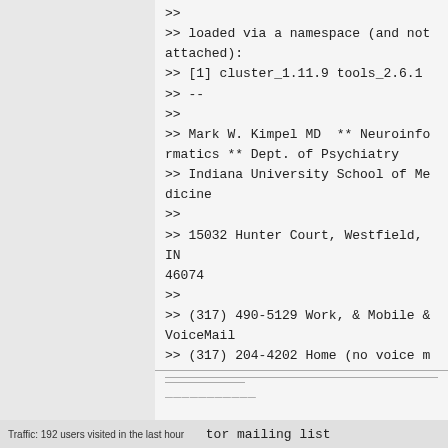>> 
>> loaded via a namespace (and not attached):
>> [1] cluster_1.11.9 tools_2.6.1
>> --
>>
>> Mark W. Kimpel MD  ** Neuroinformatics ** Dept. of Psychiatry
>> Indiana University School of Medicine
>>
>> 15032 Hunter Court, Westfield, IN 46074
>>
>> (317) 490-5129 Work, & Mobile & VoiceMail
>> (317) 204-4202 Home (no voice mail please)
>>
>> mwkimpel<at>gmail<dot>com
>>
>>
Traffic: 192 users visited in the last hour     tor mailing list
    tor at stat.math.ethz.ch